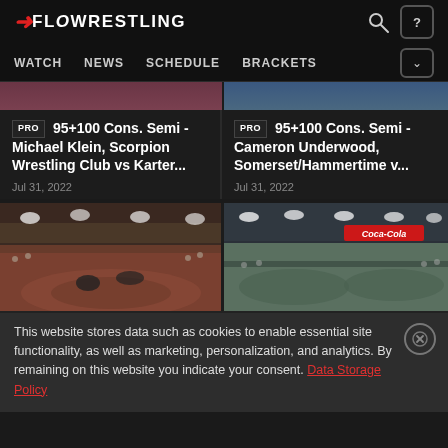FloWrestling — WATCH  NEWS  SCHEDULE  BRACKETS
PRO 95+100 Cons. Semi - Michael Klein, Scorpion Wrestling Club vs Karter... Jul 31, 2022
PRO 95+100 Cons. Semi - Cameron Underwood, Somerset/Hammertime v... Jul 31, 2022
[Figure (photo): Wrestling arena thumbnail left — wrestlers on mat]
[Figure (photo): Wrestling arena thumbnail right — arena with Coca-Cola banner]
This website stores data such as cookies to enable essential site functionality, as well as marketing, personalization, and analytics. By remaining on this website you indicate your consent. Data Storage Policy